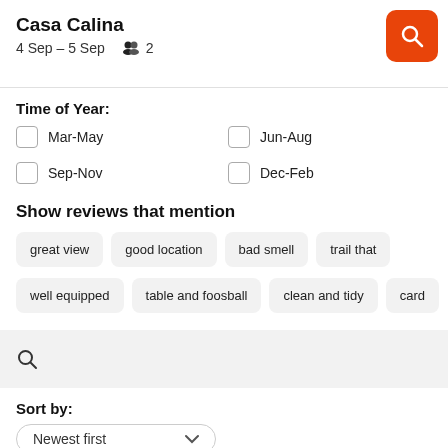Casa Calina
4 Sep – 5 Sep   👥 2
Time of Year:
Mar-May
Jun-Aug
Sep-Nov
Dec-Feb
Show reviews that mention
great view
good location
bad smell
trail that
well equipped
table and foosball
clean and tidy
card
Sort by:
Newest first